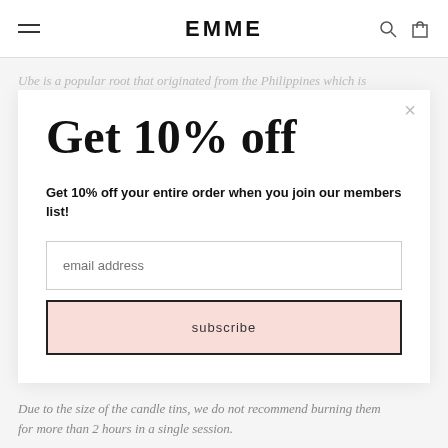EMME
Ube is a popular root that originated from the Philippines which is
Get 10% off
Get 10% off your entire order when you join our members list!
email address
subscribe
Due to the size of the candle tins, we do not recommend burning them for more than 2 hours in a single session.